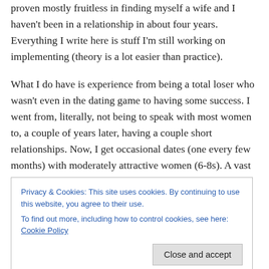proven mostly fruitless in finding myself a wife and I haven't been in a relationship in about four years. Everything I write here is stuff I'm still working on implementing (theory is a lot easier than practice).
What I do have is experience from being a total loser who wasn't even in the dating game to having some success. I went from, literally, not being to speak with most women to, a couple of years later, having a couple short relationships. Now, I get occasional dates (one every few months) with moderately attractive women (6-8s). A vast improvement over the nothing I had prior.
Privacy & Cookies: This site uses cookies. By continuing to use this website, you agree to their use.
To find out more, including how to control cookies, see here: Cookie Policy
Close and accept
because of Such does not have on the above and change experience as a present